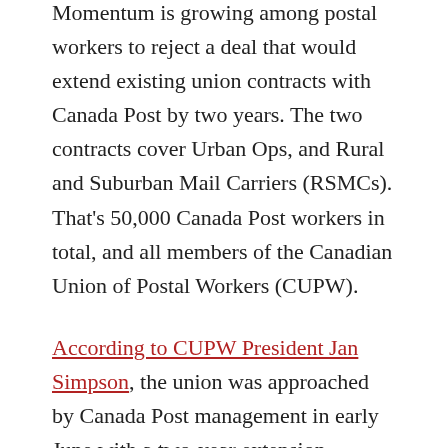Momentum is growing among postal workers to reject a deal that would extend existing union contracts with Canada Post by two years. The two contracts cover Urban Ops, and Rural and Suburban Mail Carriers (RSMCs). That's 50,000 Canada Post workers in total, and all members of the Canadian Union of Postal Workers (CUPW).
According to CUPW President Jan Simpson, the union was approached by Canada Post management in early June with a two-year extension proposal. The offer included a 2% per year wage increase (4% over two).
The union's National Executive Board authorized four senior officers to bargain, including Simpson. A